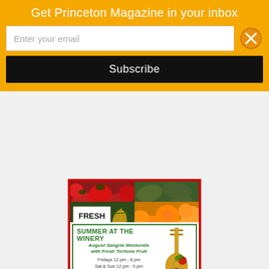Get Princeton Magazine in your inbox
Enter your email
Subscribe
[Figure (photo): Four-panel photo grid showing fresh produce: red tomatoes/radishes (top left), cucumbers/zucchini (top right), Fresh Corn sign with corn (bottom left), peaches (bottom right)]
SUMMER AT THE WINERY
August Sangria Weekends with Fresh Terhune Fruit
Fridays 12 pm - 8 pm
Sat & Sun 12 pm - 5 pm
Enjoy local music, wine, good food, friends & fresh air
www.terhuneorchards.com • (609) 924-2310